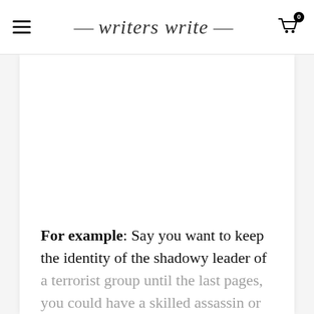writers write
For example: Say you want to keep the identity of the shadowy leader of a terrorist group until the last pages, you could have a skilled assassin or